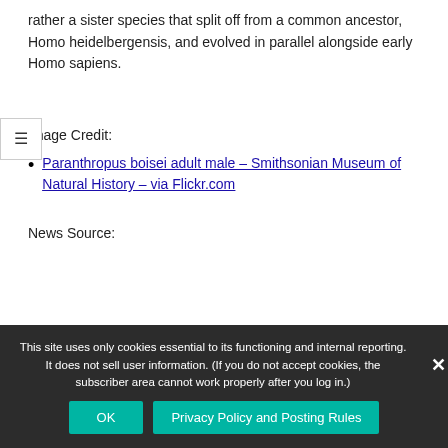rather a sister species that split off from a common ancestor, Homo heidelbergensis, and evolved in parallel alongside early Homo sapiens.
Image Credit:
Paranthropus boisei adult male – Smithsonian Museum of Natural History – via Flickr.com
News Source:
This site uses only cookies essential to its functioning and internal reporting. It does not sell user information. (If you do not accept cookies, the subscriber area cannot work properly after you log in.)